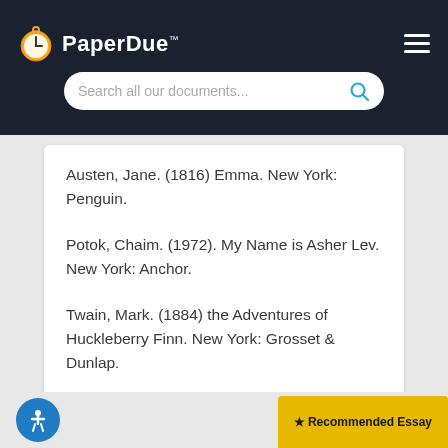PaperDue™ — Search all our documents...
Austen, Jane. (1816) Emma. New York: Penguin.
Potok, Chaim. (1972). My Name is Asher Lev. New York: Anchor.
Twain, Mark. (1884) the Adventures of Huckleberry Finn. New York: Grosset & Dunlap.